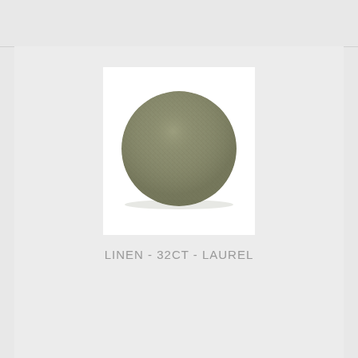[Figure (photo): Circular swatch of Laurel colored 32-count linen fabric with woven texture visible, shown on a white square background. The fabric is an olive/sage green-gray color.]
LINEN - 32CT - LAUREL